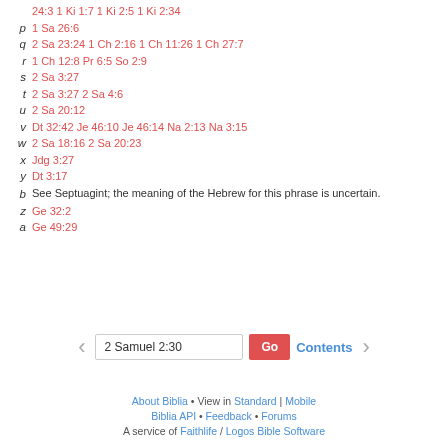24:3 1 Ki 1:7 1 Ki 2:5 1 Ki 2:34
p  1 Sa 26:6
q  2 Sa 23:24 1 Ch 2:16 1 Ch 11:26 1 Ch 27:7
r  1 Ch 12:8 Pr 6:5 So 2:9
s  2 Sa 3:27
t  2 Sa 3:27 2 Sa 4:6
u  2 Sa 20:12
v  Dt 32:42 Je 46:10 Je 46:14 Na 2:13 Na 3:15
w  2 Sa 18:16 2 Sa 20:23
x  Jdg 3:27
y  Dt 3:17
b  See Septuagint; the meaning of the Hebrew for this phrase is uncertain.
z  Ge 32:2
a  Ge 49:29
About Biblia • View in Standard | Mobile
Biblia API • Feedback • Forums
A service of Faithlife / Logos Bible Software